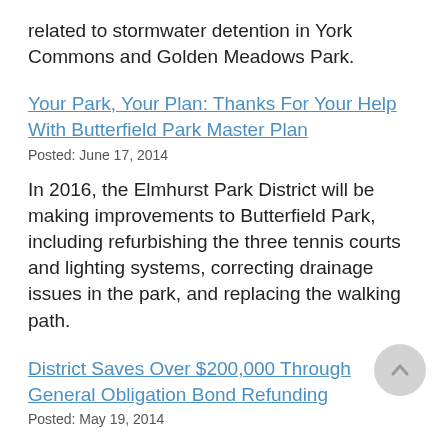related to stormwater detention in York Commons and Golden Meadows Park.
Your Park, Your Plan: Thanks For Your Help With Butterfield Park Master Plan
Posted: June 17, 2014
In 2016, the Elmhurst Park District will be making improvements to Butterfield Park, including refurbishing the three tennis courts and lighting systems, correcting drainage issues in the park, and replacing the walking path.
District Saves Over $200,000 Through General Obligation Bond Refunding
Posted: May 19, 2014